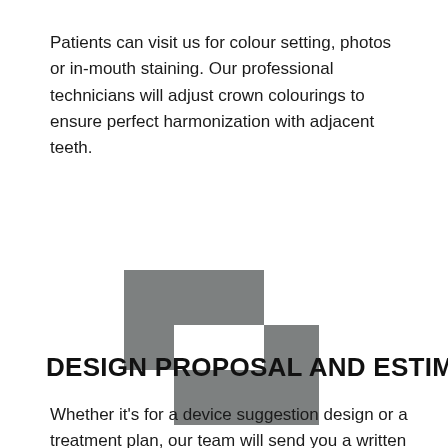Patients can visit us for colour setting, photos or in-mouth staining. Our professional technicians will adjust crown colourings to ensure perfect harmonization with adjacent teeth.
[Figure (illustration): Abstract geometric logo or icon consisting of two overlapping grey rectangles forming an interlocking step pattern with a white gap between them.]
DESIGN PROPOSAL AND ESTIMATE
Whether it's for a device suggestion design or a treatment plan, our team will send you a written